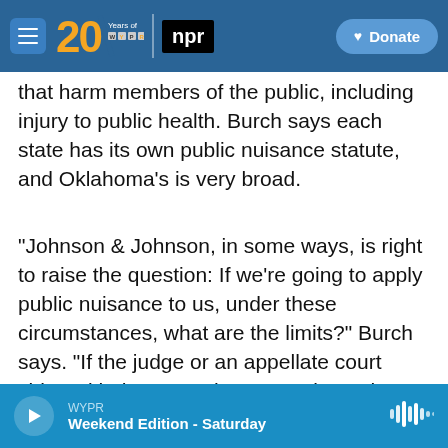[Figure (screenshot): WYPR/NPR navigation bar with hamburger menu, 20 years of WYPR logo, NPR badge, and Donate button]
that harm members of the public, including injury to public health. Burch says each state has its own public nuisance statute, and Oklahoma's is very broad.
"Johnson & Johnson, in some ways, is right to raise the question: If we're going to apply public nuisance to us, under these circumstances, what are the limits?" Burch says. "If the judge or an appellate court sides with the state, they are going to have to write a very specific ruling on why public nuisance applies to this case."
[Figure (screenshot): WYPR audio player bar at bottom showing Weekend Edition - Saturday]
WYPR | Weekend Edition - Saturday